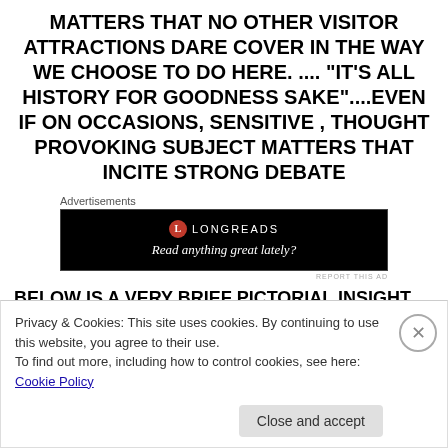MATTERS THAT NO OTHER VISITOR ATTRACTIONS DARE COVER IN THE WAY WE CHOOSE TO DO HERE. .... “IT’S ALL HISTORY FOR GOODNESS SAKE”....EVEN IF ON OCCASIONS, SENSITIVE , THOUGHT PROVOKING SUBJECT MATTERS THAT INCITE STRONG DEBATE
[Figure (screenshot): Longreads advertisement banner with black background, red circular logo with L, text 'LONGREADS' and tagline 'Read anything great lately?']
BELOW IS A VERY BRIEF PICTORIAL INSIGHT INTO
Privacy & Cookies: This site uses cookies. By continuing to use this website, you agree to their use.
To find out more, including how to control cookies, see here: Cookie Policy